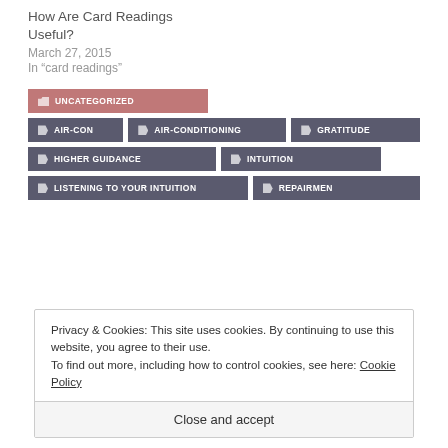How Are Card Readings Useful?
March 27, 2015
In “card readings”
UNCATEGORIZED
AIR-CON
AIR-CONDITIONING
GRATITUDE
HIGHER GUIDANCE
INTUITION
LISTENING TO YOUR INTUITION
REPAIRMEN
Privacy & Cookies: This site uses cookies. By continuing to use this website, you agree to their use.
To find out more, including how to control cookies, see here: Cookie Policy
Close and accept